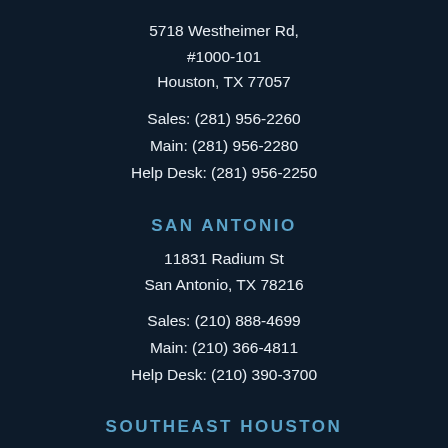5718 Westheimer Rd, #1000-101
Houston, TX 77057
Sales: (281) 956-2260
Main: (281) 956-2280
Help Desk: (281) 956-2250
SAN ANTONIO
11831 Radium St
San Antonio, TX 78216
Sales: (210) 888-4699
Main: (210) 366-4811
Help Desk: (210) 390-3700
SOUTHEAST HOUSTON